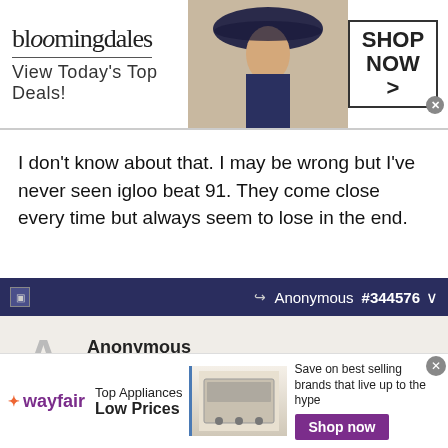[Figure (screenshot): Bloomingdales advertisement banner: logo, 'View Today's Top Deals!', woman with hat image, SHOP NOW > button]
I don't know about that. I may be wrong but I've never seen igloo beat 91. They come close every time but always seem to lose in the end.
[Figure (screenshot): Forum post header bar with Anonymous #344576]
Anonymous
Unregistered
Originally Posted by Anonymous
Originally Posted by Anonymous
[Figure (screenshot): Wayfair advertisement: Top Appliances Low Prices, Save on best selling brands that live up to the hype, Shop now button]